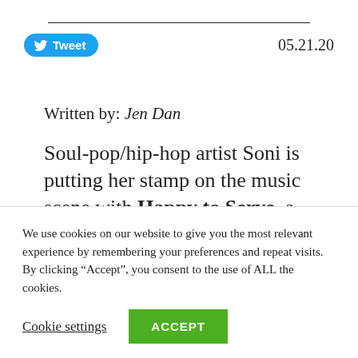Tweet  05.21.20
Written by: Jen Dan
Soul-pop/hip-hop artist Soni is putting her stamp on the music scene with Happy to Serve, a high-impact new single that drops…
We use cookies on our website to give you the most relevant experience by remembering your preferences and repeat visits. By clicking “Accept”, you consent to the use of ALL the cookies.
Cookie settings  ACCEPT